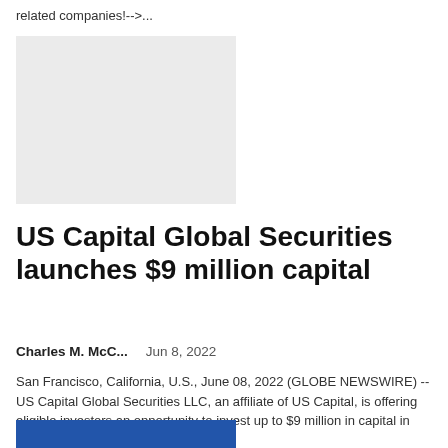related companies!-->...
[Figure (other): Gray placeholder/advertisement box]
US Capital Global Securities launches $9 million capital
Charles M. McC...   Jun 8, 2022
San Francisco, California, U.S., June 08, 2022 (GLOBE NEWSWIRE) -- US Capital Global Securities LLC, an affiliate of US Capital, is offering eligible investors an opportunity to invest up to $9 million in capital in myLawyer Network...
[Figure (photo): Partial photo visible at bottom of page, blue toned image]